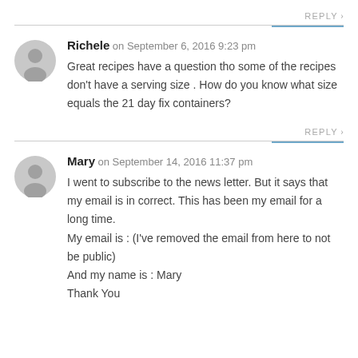REPLY >
Richele on September 6, 2016 9:23 pm
Great recipes have a question tho some of the recipes don't have a serving size . How do you know what size equals the 21 day fix containers?
REPLY >
Mary on September 14, 2016 11:37 pm
I went to subscribe to the news letter. But it says that my email is in correct. This has been my email for a long time.
My email is : (I've removed the email from here to not be public)
And my name is : Mary
Thank You